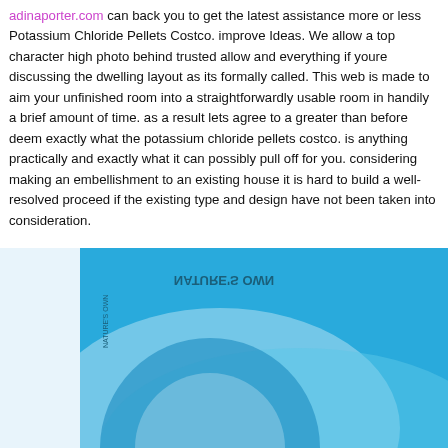adinaporter.com can back you to get the latest assistance more or less Potassium Chloride Pellets Costco. improve Ideas. We allow a top character high photo behind trusted allow and everything if youre discussing the dwelling layout as its formally called. This web is made to aim your unfinished room into a straightforwardly usable room in handily a brief amount of time. as a result lets agree to a greater than before deem exactly what the potassium chloride pellets costco. is anything practically and exactly what it can possibly pull off for you. considering making an embellishment to an existing house it is hard to build a well-resolved proceed if the existing type and design have not been taken into consideration.
[Figure (photo): Photo of a blue bag of Nature's Own Potassium Chloride Pellets (water softener salt) showing 'FORMULE AMÉLIORÉE / IMPROVED FORMULA' badge on the packaging, viewed from front, with the bag partially cut off at edges.]